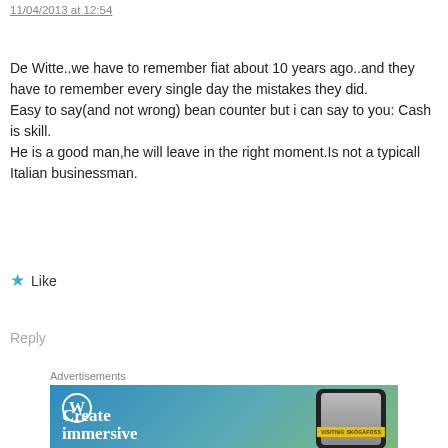11/04/2013 at 12:54
De Witte..we have to remember fiat about 10 years ago..and they have to remember every single day the mistakes they did.
Easy to say(and not wrong) bean counter but i can say to you: Cash is skill.
He is a good man,he will leave in the right moment.Is not a typicall Italian businessman.
★ Like
Reply
Advertisements
[Figure (illustration): WordPress advertisement banner showing the WordPress logo and a smartphone with 'VISITING SKÓGAFOSS' label. Text reads 'Create immersive' in white bold font on a blue-green gradient background.]